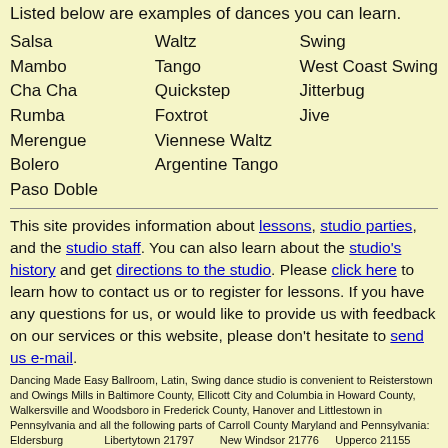Listed below are examples of dances you can learn.
Salsa
Mambo
Cha Cha
Rumba
Merengue
Bolero
Paso Doble
Waltz
Tango
Quickstep
Foxtrot
Viennese Waltz
Argentine Tango
Swing
West Coast Swing
Jitterbug
Jive
This site provides information about lessons, studio parties, and the studio staff. You can also learn about the studio's history and get directions to the studio. Please click here to learn how to contact us or to register for lessons. If you have any questions for us, or would like to provide us with feedback on our services or this website, please don't hesitate to send us e-mail.
Dancing Made Easy Ballroom, Latin, Swing dance studio is convenient to Reisterstown and Owings Mills in Baltimore County, Ellicott City and Columbia in Howard County, Walkersville and Woodsboro in Frederick County, Hanover and Littlestown in Pennsylvania and all the following parts of Carroll County Maryland and Pennsylvania:
| Eldersburg 21784
Finksburg 21048
Frederick 21701
Hampstead 21074
Hanover PA | Libertytown 21797
Littlestown PA 17340
Manchester 21102
Marriottsville 21104
Mount Airy 21771 | New Windsor 21776
Owings Mills 21117
Reisterstown 21136
Sykesville 21784
Taneytown 21787
Union Bridge 21791 | Upperco 21155
Walkersville 21793
Westminster 21157
Westminster 21158
Woodbine 21797
Woodbine 21798 |